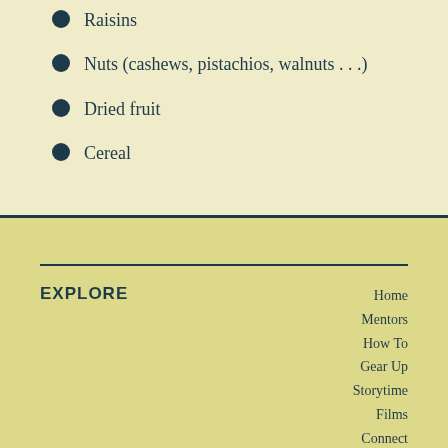Raisins
Nuts (cashews, pistachios, walnuts . . .)
Dried fruit
Cereal
EXPLORE
Home
Mentors
How To
Gear Up
Storytime
Films
Connect